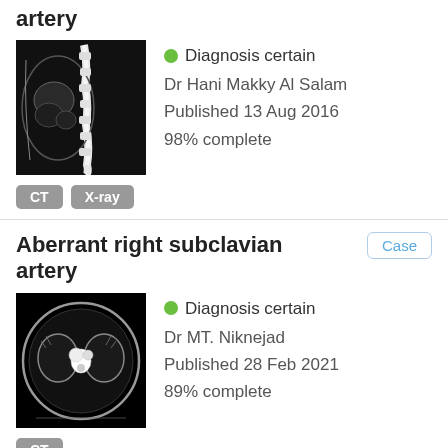artery
[Figure (photo): CT scan image of abdominal/spinal area in sagittal view, grayscale]
Diagnosis certain
Dr Hani Makky Al Salam
Published 13 Aug 2016
98% complete
CT  X-ray
Aberrant right subclavian artery
Case
[Figure (photo): CT scan axial cross-section of chest showing mediastinum, black background]
Diagnosis certain
Dr MT. Niknejad
Published 28 Feb 2021
89% complete
CT
Aberrant right subclavian